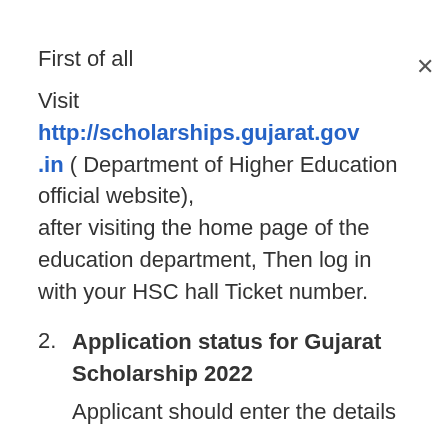First of all
Visit http://scholarships.gujarat.gov.in ( Department of Higher Education official website), after visiting the home page of the education department, Then log in with your HSC hall Ticket number.
Application status for Gujarat Scholarship 2022
Applicant should enter the details